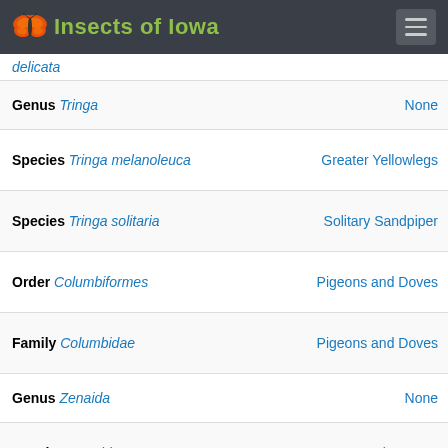Insects of Iowa
delicata
| Taxon | Common Name |
| --- | --- |
| Genus Tringa | None |
| Species Tringa melanoleuca | Greater Yellowlegs |
| Species Tringa solitaria | Solitary Sandpiper |
| Order Columbiformes | Pigeons and Doves |
| Family Columbidae | Pigeons and Doves |
| Genus Zenaida | None |
| Species Zenaida macroura | Mourning Dove |
| Order Passeriformes | Perching Birds and Songbirds |
| Family Cardinalidae | Cardinals and |